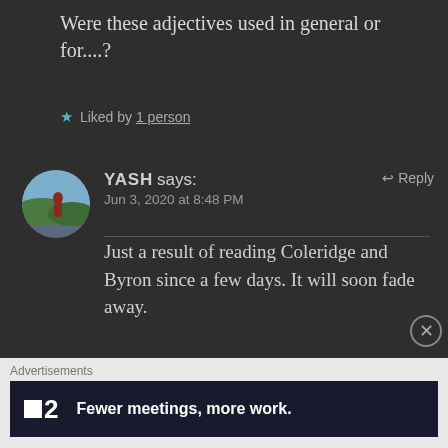Were these adjectives used in general or for....?
★ Liked by 1 person
YASH says:   ↩ Reply
Jun 3, 2020 at 8:48 PM
Just a result of reading Coleridge and Byron since a few days. It will soon fade away.
[Figure (other): Advertisement banner: black background with logo showing a small white square followed by '2' and text 'Fewer meetings, more work.']